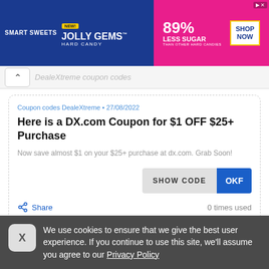[Figure (other): Smart Sweets Jolly Gems Hard Candy advertisement banner. Left side dark blue with Smart Sweets logo, NEW badge, Jolly Gems Hard Candy text. Right side pink/magenta with 89% Less Sugar than other hard candies text and Shop Now button.]
DealeXtreme coupon codes
Here is a DX.com Coupon for $1 OFF $25+ Purchase
Coupon codes DealeXtreme • 27/08/2022
Now save almost $1 on your $25+ purchase at dx.com. Grab Soon!
SHOW CODE OKF
Share   0 times used
We use cookies to ensure that we give the best user experience. If you continue to use this site, we'll assume you agree to our Privacy Policy